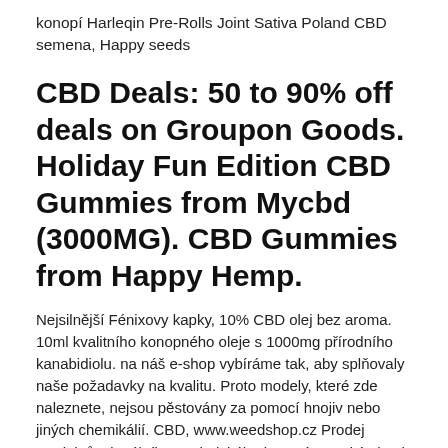konopí Harleqin Pre-Rolls Joint Sativa Poland CBD semena, Happy seeds
CBD Deals: 50 to 90% off deals on Groupon Goods. Holiday Fun Edition CBD Gummies from Mycbd (3000MG). CBD Gummies from Happy Hemp.
Nejsilnější Fénixovy kapky, 10% CBD olej bez aroma. 10ml kvalitního konopného oleje s 1000mg přírodního kanabidiolu. na náš e-shop vybíráme tak, aby splňovaly naše požadavky na kvalitu. Proto modely, které zde naleznete, nejsou pěstovány za pomocí hnojiv nebo jiných chemikálií. CBD, www.weedshop.cz Prodej produktů z legálního, technického konopí. Vysoký obsah CBD, THC < 0,3 %. Prémiové produkty značky Hemps a The Good Budz vám dodáme až ke dveřím – součástí sortimentu jsou CBD konopí Harleqin Pre-Rolls